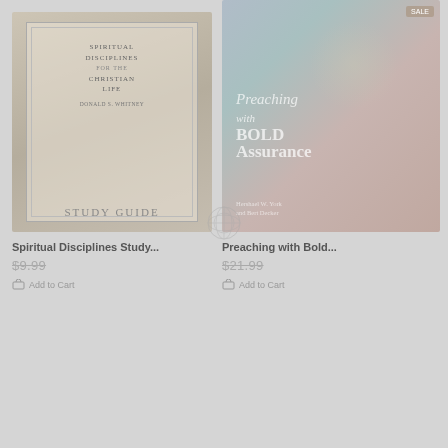[Figure (illustration): Book cover of 'Spiritual Disciplines for the Christian Life' - Study Guide, with ornate border design and muted tan/gray tones]
[Figure (photo): Book cover of 'Preaching with Bold Assurance' by Hershael W. York and Bert Decker, showing a blurred face in the background with colorful abstract tones]
Spiritual Disciplines Study...
Preaching with Bold...
$9.99
$21.99
Add to Cart
Add to Cart